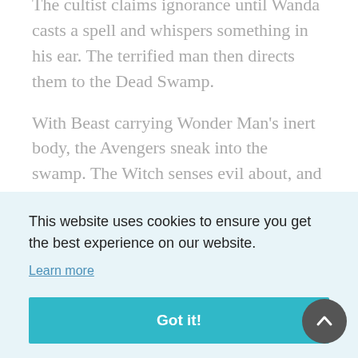The cultist claims ignorance until Wanda casts a spell and whispers something in his ear. The terrified man then directs them to the Dead Swamp.
With Beast carrying Wonder Man's inert body, the Avengers sneak into the swamp. The Witch senses evil about, and a silent voice calling. Then WM wakes up and starts to shuffle
This website uses cookies to ensure you get the best experience on our website.
Learn more
Got it!
walking amongst them. Under